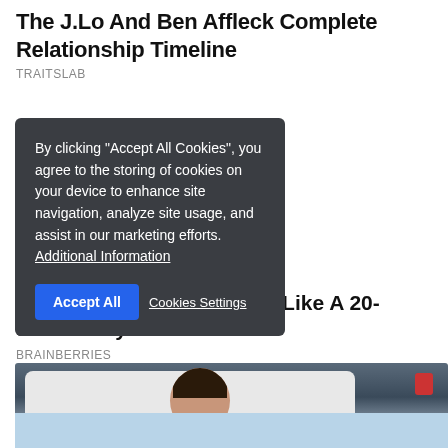The J.Lo And Ben Affleck Complete Relationship Timeline
TRAITSLAB
By clicking "Accept All Cookies", you agree to the storing of cookies on your device to enhance site navigation, analyze site usage, and assist in our marketing efforts. Additional Information
Accept All   Cookies Settings
J... ...rs Old, But He Looks Like A 20-s... ...o Boy
BRAINBERRIES
[Figure (photo): A person lying in a hospital bed with dark curly hair, resting on a white pillow. A red medical device or tube is visible in the upper right. The person appears to be a patient in a medical setting.]